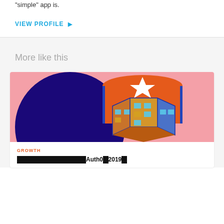"simple" app is.
VIEW PROFILE ▶
More like this
[Figure (illustration): Isometric illustration of a building/tower with orange roof, white star, blue and orange architecture on pink background]
GROWTH
████████████████Auth0█2019█